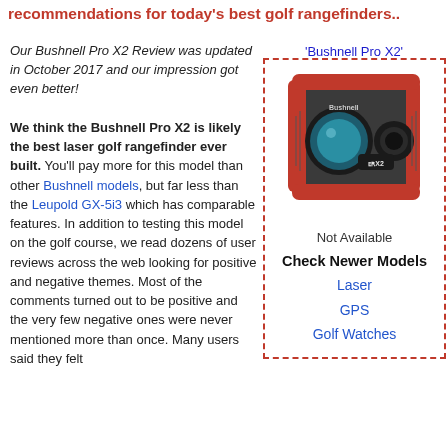recommendations for today's best golf rangefinders..
Our Bushnell Pro X2 Review was updated in October 2017 and our impression got even better!
We think the Bushnell Pro X2 is likely the best laser golf rangefinder ever built. You'll pay more for this model than other Bushnell models, but far less than the Leupold GX-5i3 which has comparable features. In addition to testing this model on the golf course, we read dozens of user reviews across the web looking for positive and negative themes. Most of the comments turned out to be positive and the very few negative ones were never mentioned more than once. Many users said they felt
'Bushnell Pro X2'
[Figure (photo): Photo of Bushnell Pro X2 golf rangefinder, black and red body with teal lens]
Not Available
Check Newer Models
Laser
GPS
Golf Watches